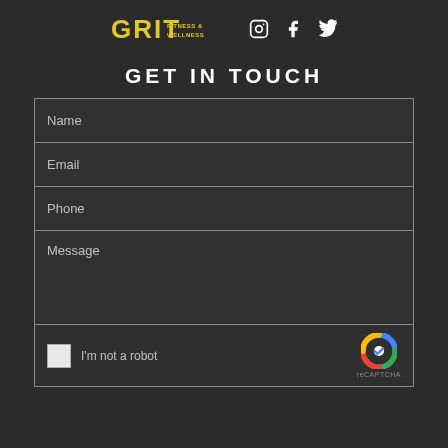GRIT FITNESS & WELLNESS [Instagram] [Facebook] [Twitter]
GET IN TOUCH
Name
Email
Phone
Message
[Figure (other): reCAPTCHA widget with checkbox labeled I'm not a robot and reCAPTCHA logo]